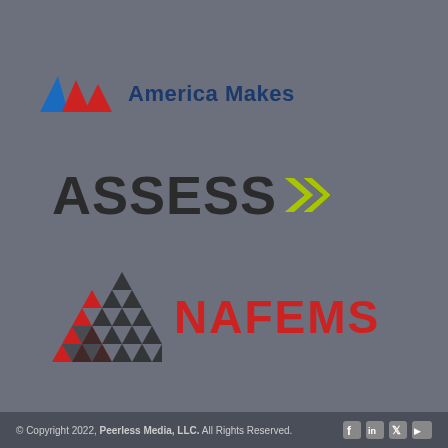[Figure (logo): America Makes logo with stylized mountain/flag shapes in blue and red, followed by text 'America Makes' in dark navy bold]
[Figure (logo): ASSESS logo with the word ASSESS in bold dark/black and double chevron arrows in yellow-green]
[Figure (logo): NAFEMS logo with a triangular mosaic pattern in red and black on the left, and the text NAFEMS in red bold letters]
© Copyright 2022, Peerless Media, LLC. All Rights Reserved.